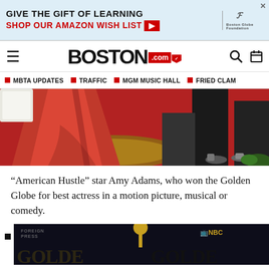[Figure (other): Advertisement banner: GIVE THE GIFT OF LEARNING / SHOP OUR AMAZON WISH LIST with Boston Globe Foundation logo]
BOSTON.com
MBTA UPDATES
TRAFFIC
MGM MUSIC HALL
FRIED CLAM
[Figure (photo): Red carpet photo showing lower portion of a red dress and people in black clothing standing on decorative golden/red carpet]
“American Hustle” star Amy Adams, who won the Golden Globe for best actress in a motion picture, musical or comedy.
[Figure (photo): Partial view of Golden Globe award statuette with FOREIGN PRESS and NBC logos visible, and large GOLDEN text at bottom]